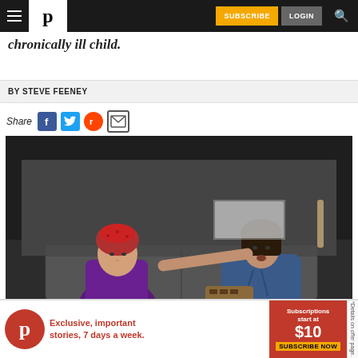Navigation bar with hamburger menu, P logo, SUBSCRIBE and LOGIN buttons, search icon
chronically ill child.
BY STEVE FEENEY
Share
[Figure (photo): Two women on a stage set with a couch. Left woman wears a red head covering and purple jacket, seated. Right woman in blue hoodie leans toward her with one hand outstretched on the couch back.]
[Figure (infographic): Advertisement banner: P logo in red circle, text 'Exclusive, important stories, 7 days a week.' in red, subscription price $10, SUBSCRIBE NOW button in orange, details on offer page note on side.]